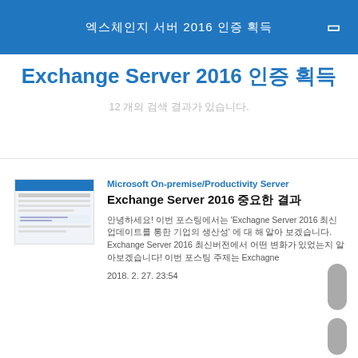엑스체인지 서버 2016 인증 획득
Exchange Server 2016 인증 획득
12 개의 검색 결과가 있습니다.
Microsoft On-premise/Productivity Server
Exchange Server 2016 중요한 결과
안녕하세요! 이번 포스팅에서는 'Exchagne Server 2016 최신업데이트를 통한 기업의 생산성' 에 대 해 알아 보겠습니다. Exchange Server 2016 최신버전에서 어떤 변화가 있었는지 알아보겠습니다! 이번 포스팅 주제는 Exchagne
2018. 2. 27. 23:54